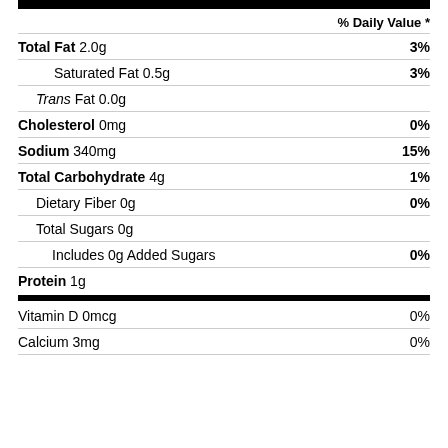| Nutrient | % Daily Value |
| --- | --- |
| Total Fat 2.0g | 3% |
| Saturated Fat 0.5g | 3% |
| Trans Fat 0.0g |  |
| Cholesterol 0mg | 0% |
| Sodium 340mg | 15% |
| Total Carbohydrate 4g | 1% |
| Dietary Fiber 0g | 0% |
| Total Sugars 0g |  |
| Includes 0g Added Sugars | 0% |
| Protein 1g |  |
| Vitamin D 0mcg | 0% |
| Calcium 3mg | 0% |